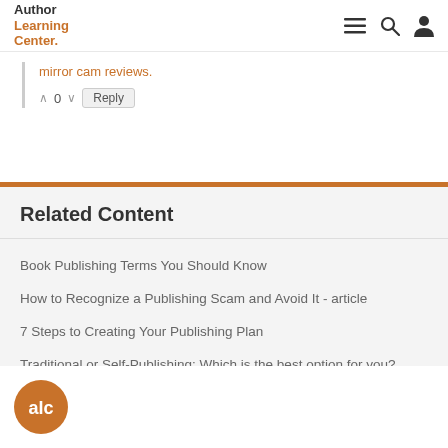Author Learning Center
mirror cam reviews.
0  Reply
Related Content
Book Publishing Terms You Should Know
How to Recognize a Publishing Scam and Avoid It - article
7 Steps to Creating Your Publishing Plan
Traditional or Self-Publishing: Which is the best option for you?
Pen Names: Should You Use One to Publish Your Work?